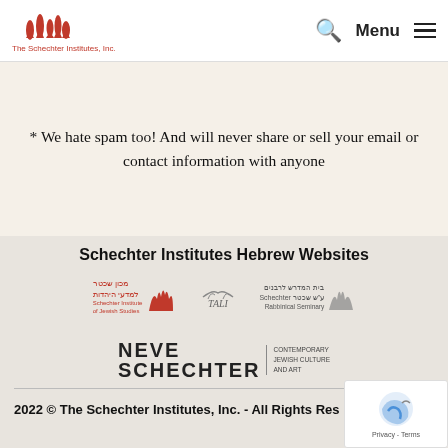The Schechter Institutes, Inc. — Menu
* We hate spam too! And will never share or sell your email or contact information with anyone
Schechter Institutes Hebrew Websites
[Figure (logo): Schechter Institute of Jewish Studies Hebrew logo with flame icon]
[Figure (logo): TALI logo with decorative bird/plant icon]
[Figure (logo): Schechter Rabbinical Seminary Hebrew logo with flame icon]
[Figure (logo): Neve Schechter Contemporary Jewish Culture and Art logo]
2022 © The Schechter Institutes, Inc. - All Rights Reserved